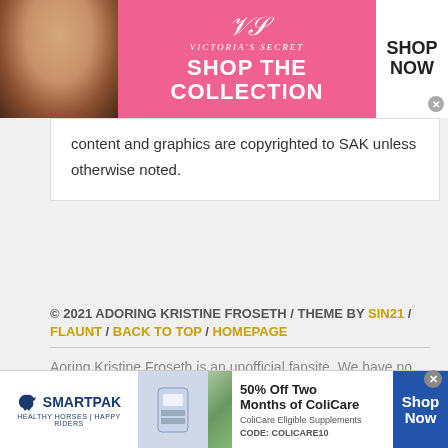[Figure (screenshot): Victoria's Secret advertisement banner showing a woman model on the left with pink background, VS logo, 'SHOP THE COLLECTION' text, and a 'SHOP NOW' button on the right]
content and graphics are copyrighted to SAK unless otherwise noted.
© 2021 ADORING KRISTINE FROSETH / THEME BY SIN21 / FLAUNT / BACK TO TOP / HOMEPAGE
Aoring Kristine Froseth is an unofficial fansite. We have no contact with Kristine, her friends, family, representatives, etc
[Figure (screenshot): SmartPak advertisement banner with logo, horse supplement product image, photo of woman with horse, '50% Off Two Months of ColiCare' offer with CODE: COLICARE10, and Shop Now button]